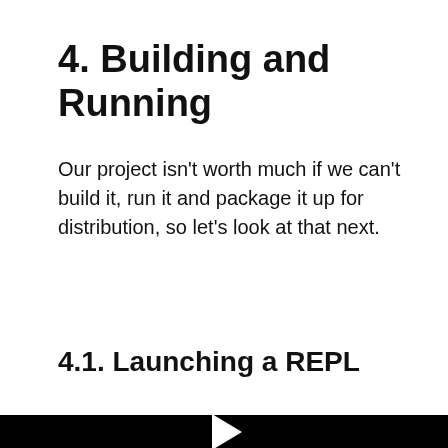4. Building and Running
Our project isn't worth much if we can't build it, run it and package it up for distribution, so let's look at that next.
4.1. Launching a REPL
[Figure (screenshot): Black video player panel with a white play button triangle in the center]